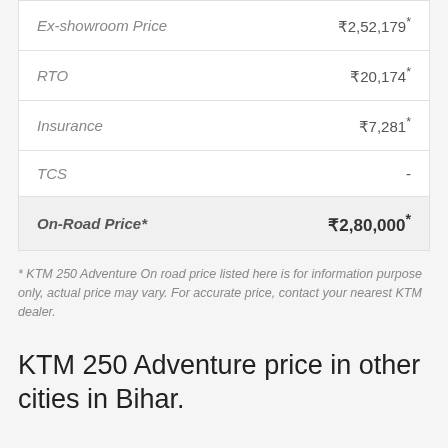|  |  |
| --- | --- |
| Ex-showroom Price | ₹2,52,179* |
| RTO | ₹20,174* |
| Insurance | ₹7,281* |
| TCS | - |
| On-Road Price* | ₹2,80,000* |
* KTM 250 Adventure On road price listed here is for information purpose only, actual price may vary. For accurate price, contact your nearest KTM dealer.
KTM 250 Adventure price in other cities in Bihar.